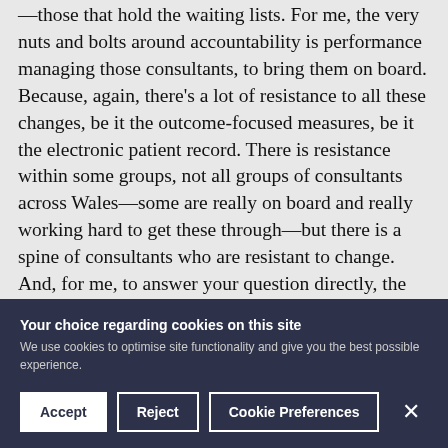—those that hold the waiting lists. For me, the very nuts and bolts around accountability is performance managing those consultants, to bring them on board. Because, again, there's a lot of resistance to all these changes, be it the outcome-focused measures, be it the electronic patient record. There is resistance within some groups, not all groups of consultants across Wales—some are really on board and really working hard to get these through—but there is a spine of consultants who are resistant to change. And, for me, to answer your question directly, the performance management of those individuals is critical.
Your choice regarding cookies on this site
We use cookies to optimise site functionality and give you the best possible experience.